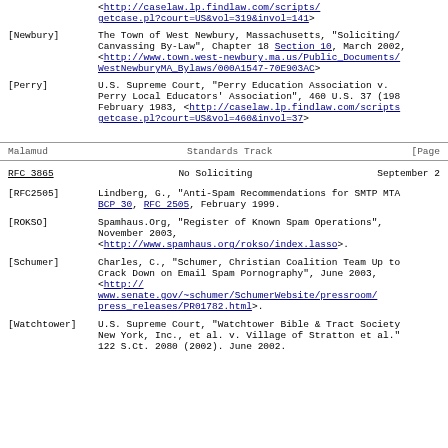[Newbury] The Town of West Newbury, Massachusetts, "Soliciting/Canvassing By-Law", Chapter 18 Section 10, March 2002, <http://www.town.west-newbury.ma.us/Public_Documents/WestNewburyMA_Bylaws/000A1547-70E903AC>
[Perry] U.S. Supreme Court, "Perry Education Association v. Perry Local Educators' Association", 460 U.S. 37 (1983), February 1983, <http://caselaw.lp.findlaw.com/scripts/getcase.pl?court=US&vol=460&invol=37>
Malamud                     Standards Track                    [Page
RFC 3865                        No Soliciting                  September 2
[RFC2505] Lindberg, G., "Anti-Spam Recommendations for SMTP MTA" BCP 30, RFC 2505, February 1999.
[ROKSO] Spamhaus.Org, "Register of Known Spam Operations", November 2003, <http://www.spamhaus.org/rokso/index.lasso>.
[Schumer] Charles, C., "Schumer, Christian Coalition Team Up to Crack Down on Email Spam Pornography", June 2003, <http://www.senate.gov/~schumer/SchumerWebsite/pressroom/press_releases/PR01782.html>.
[Watchtower] U.S. Supreme Court, "Watchtower Bible & Tract Society of New York, Inc., et al. v. Village of Stratton et al." 122 S.Ct. 2080 (2002). June 2002.